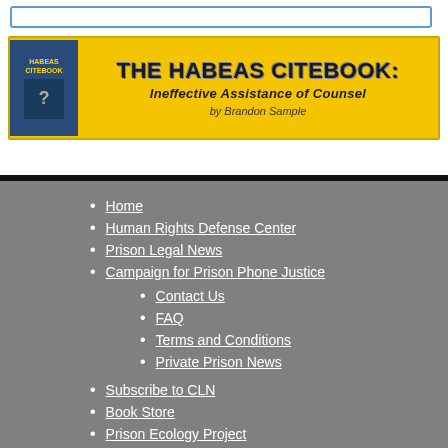[Figure (illustration): Yellow banner advertisement for 'The Habeas Citebook: Ineffective Assistance of Counsel by Brandon Sample' with book cover image on left and bold text on yellow background]
Home
Human Rights Defense Center
Prison Legal News
Campaign for Prison Phone Justice
Contact Us
FAQ
Terms and Conditions
Private Prison News
Subscribe to CLN
Book Store
Prison Ecology Project
Wrongly Convicted
© Criminal Legal News, All Rights Reserved
CLN print ISSN: 2576-9987 | CLN online ISSN: 2577-0004